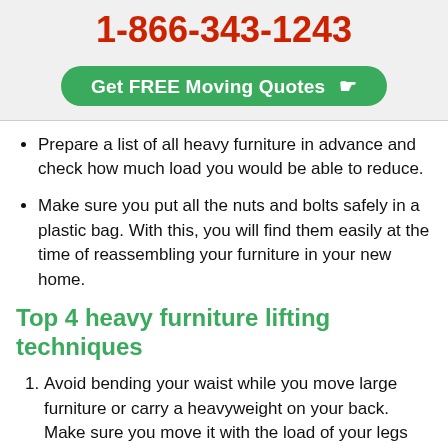1-866-343-1243
[Figure (other): Green rounded button with text 'Get FREE Moving Quotes' and a pointing hand icon]
Prepare a list of all heavy furniture in advance and check how much load you would be able to reduce.
Make sure you put all the nuts and bolts safely in a plastic bag. With this, you will find them easily at the time of reassembling your furniture in your new home.
Top 4 heavy furniture lifting techniques
Avoid bending your waist while you move large furniture or carry a heavyweight on your back. Make sure you move it with the load of your legs and stoop at your knees for an indispensable lift